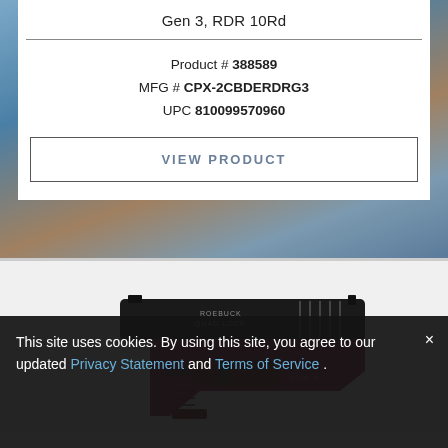Gen 3, RDR 10Rd
Product # 388589
MFG # CPX-2CBDERDRG3
UPC 810099570960
VIEW PRODUCT
[Figure (photo): Photo of a dark red/maroon and black semi-automatic pistol (CPX-2) on white background]
This site uses cookies. By using this site, you agree to our updated Privacy Statement and Terms of Service .